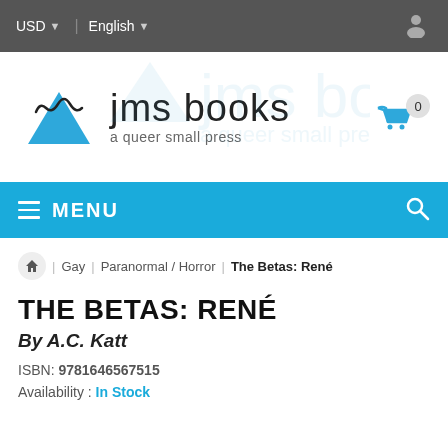USD  English
[Figure (logo): JMS Books logo with triangle and decorative text, tagline: a queer small press]
MENU
Home / Gay / Paranormal / Horror / The Betas: René
THE BETAS: RENÉ
By A.C. Katt
ISBN: 9781646567515
Availability: In Stock